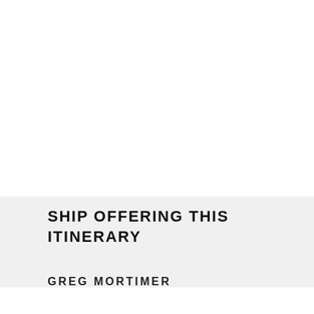SHIP OFFERING THIS ITINERARY
GREG MORTIMER